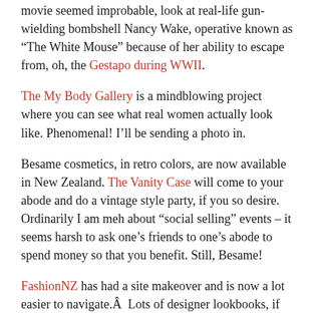movie seemed improbable, look at real-life gun-wielding bombshell Nancy Wake, operative known as “The White Mouse” because of her ability to escape from, oh, the Gestapo during WWII.
The My Body Gallery is a mindblowing project where you can see what real women actually look like. Phenomenal! I’ll be sending a photo in.
Besame cosmetics, in retro colors, are now available in New Zealand. The Vanity Case will come to your abode and do a vintage style party, if you so desire. Ordinarily I am meh about “social selling” events – it seems harsh to ask one’s friends to one’s abode to spend money so that you benefit. Still, Besame!
FashionNZ has had a site makeover and is now a lot easier to navigate.Â  Lots of designer lookbooks, if you